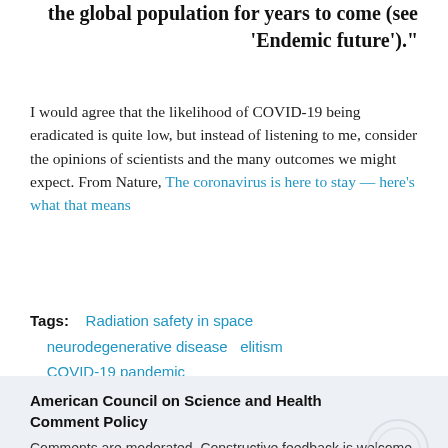the global population for years to come (see 'Endemic future')."
I would agree that the likelihood of COVID-19 being eradicated is quite low, but instead of listening to me, consider the opinions of scientists and the many outcomes we might expect. From Nature, The coronavirus is here to stay — here's what that means
Tags:    Radiation safety in space    neurodegenerative disease    elitism    COVID-19 pandemic
American Council on Science and Health Comment Policy
Comments are moderated. Constructive feedback is welcome. Pseudoscience, insults, or